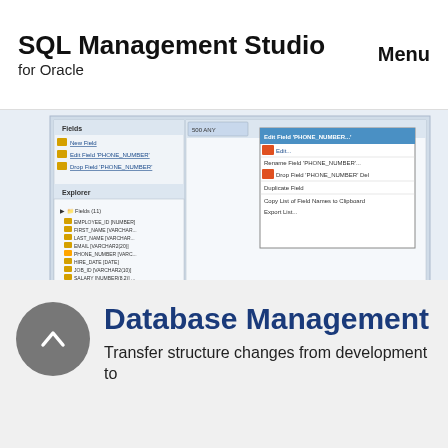SQL Management Studio
for Oracle
Menu
[Figure (screenshot): SQL Management Studio for Oracle application screenshot showing a Fields panel on the left with Explorer tree listing database fields (EMPLOYEE_ID, FIRST_NAME, LAST_NAME, EMAIL, PHONE_NUMBER, HIRE_DATE, JOB_ID, SALARY), a context menu showing options like 'Edit Field PHONE_NUMBER', 'Rename Field PHONE_NUMBER', 'Drop Field PHONE_NUMBER', 'Duplicate Field', 'Copy List of Field Names to Clipboard', 'Export List', and a field description panel at the bottom showing 'Phone number of the employee; includes country code and area code']
Database Management
Transfer structure changes from development to